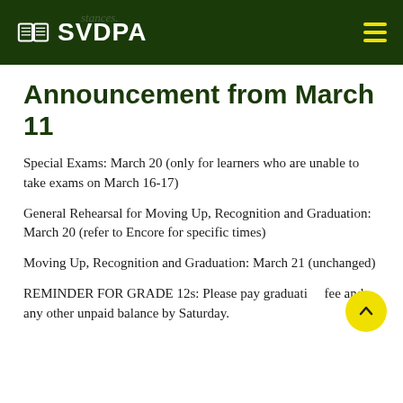SVDPA
Announcement from March 11
Special Exams: March 20 (only for learners who are unable to take exams on March 16-17)
General Rehearsal for Moving Up, Recognition and Graduation: March 20 (refer to Encore for specific times)
Moving Up, Recognition and Graduation: March 21 (unchanged)
REMINDER FOR GRADE 12s: Please pay graduation fee and any other unpaid balance by Saturday.